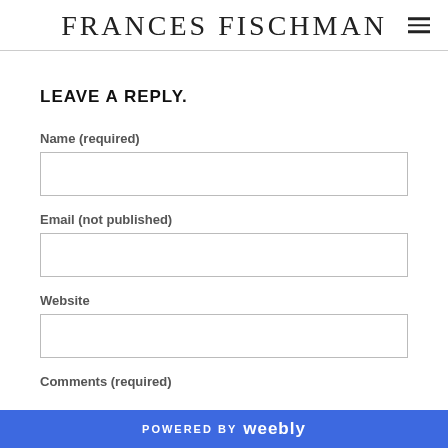FRANCES FISCHMAN
LEAVE A REPLY.
Name (required)
Email (not published)
Website
Comments (required)
POWERED BY weebly